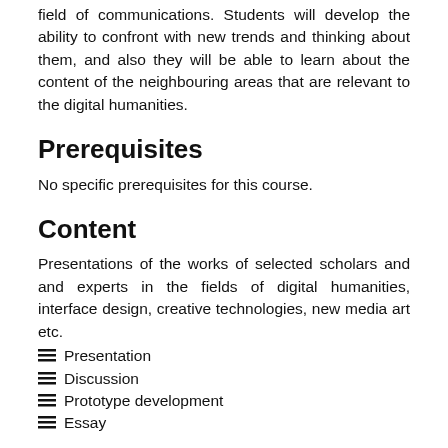field of communications. Students will develop the ability to confront with new trends and thinking about them, and also they will be able to learn about the content of the neighbouring areas that are relevant to the digital humanities.
Prerequisites
No specific prerequisites for this course.
Content
Presentations of the works of selected scholars and and experts in the fields of digital humanities, interface design, creative technologies, new media art etc.
Presentation
Discussion
Prototype development
Essay